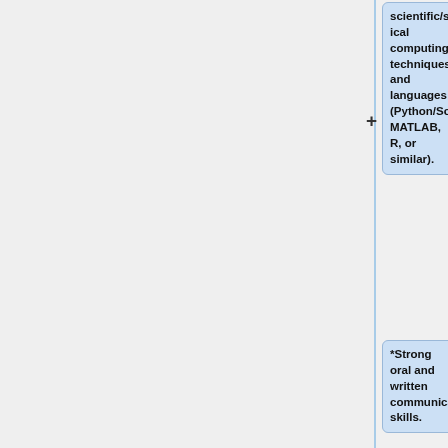scientific/statistical computing techniques and languages (Python/SciPy, MATLAB, R, or similar).
*Strong oral and written communication skills.
*Willingness to travel to clinical sites for research coordination.
* Bachelor's Degree in a technical area